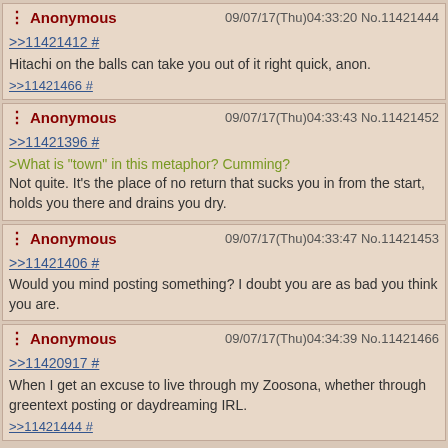Anonymous 09/07/17(Thu)04:33:20 No.11421444
>>11421412 #
Hitachi on the balls can take you out of it right quick, anon.
>>11421466 #
Anonymous 09/07/17(Thu)04:33:43 No.11421452
>>11421396 #
>What is "town" in this metaphor? Cumming?
Not quite. It's the place of no return that sucks you in from the start, holds you there and drains you dry.
Anonymous 09/07/17(Thu)04:33:47 No.11421453
>>11421406 #
Would you mind posting something? I doubt you are as bad you think you are.
Anonymous 09/07/17(Thu)04:34:39 No.11421466
>>11420917 #
When I get an excuse to live through my Zoosona, whether through greentext posting or daydreaming IRL.
>>11421444 #